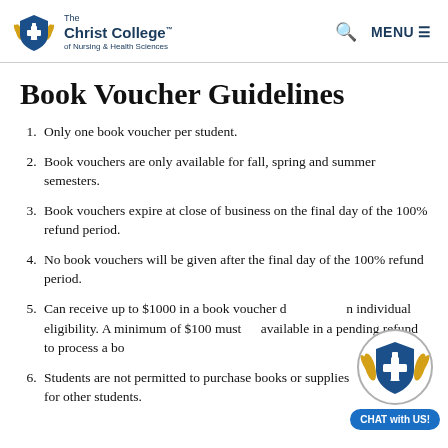The Christ College of Nursing & Health Sciences — MENU
Book Voucher Guidelines
1. Only one book voucher per student.
2. Book vouchers are only available for fall, spring and summer semesters.
3. Book vouchers expire at close of business on the final day of the 100% refund period.
4. No book vouchers will be given after the final day of the 100% refund period.
5. Can receive up to $1000 in a book voucher depending on individual eligibility. A minimum of $100 must be available in a pending refund to process a book voucher.
6. Students are not permitted to purchase books or supplies for other students.
[Figure (logo): CHAT with US chat widget with The Christ College shield logo]